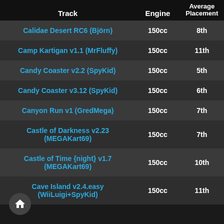| Track | Engine | Average Placement |
| --- | --- | --- |
| Calidae Desert RC6 (Björn) | 150cc | 8th |
| Camp Kartigan v1.1 (MrFluffy) | 150cc | 11th |
| Candy Coaster v2.2 (SpyKid) | 150cc | 5th |
| Candy Coaster v3.12 (SpyKid) | 150cc | 6th |
| Canyon Run v1 (GredMega) | 150cc | 7th |
| Castle of Darkness v2.23 (MEGAKart69) | 150cc | 7th |
| Castle of Time {night} v1.7 (MEGAKart69) | 150cc | 10th |
| Cave Island v2.4.easy (WiiLuigi+SpyKid) | 150cc | 11th |